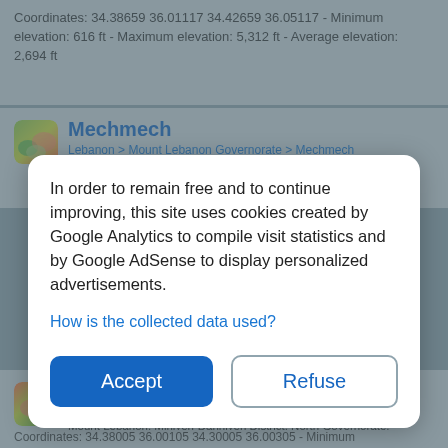Coordinates: 34.38659 36.01117 34.42659 36.05117 - Minimum elevation: 616 ft - Maximum elevation: 5,312 ft - Average elevation: 2,694 ft
Mechmech
Lebanon > Mount Lebanon Governorate > Mechmech
In order to remain free and to continue improving, this site uses cookies created by Google Analytics to compile visit statistics and by Google AdSense to display personalized advertisements.
How is the collected data used?
Accept
Refuse
Mount Lebanon
Lebanon > North Governorate
Mount Lebanon, Miniyeh-Danniyeh District, North Governorate, Lebanon (34.29000 36.09200)
Coordinates: 34.38005 36.00105 34.30005 36.00305 - Minimum